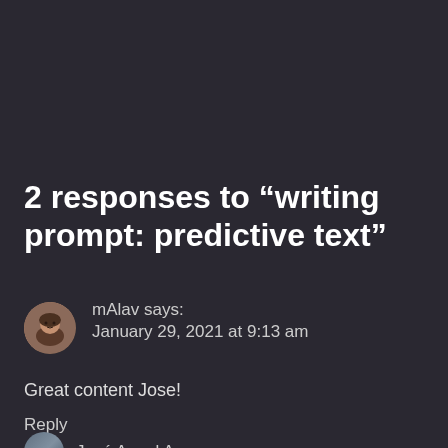2 responses to “writing prompt: predictive text”
mAlav says: January 29, 2021 at 9:13 am
Great content Jose!
Reply
José Angel Arregu…